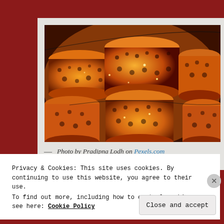[Figure (photo): Close-up photo of multiple glowing orange/golden metallic lanterns with decorative cut-out floral patterns, lit from inside, arranged together.]
— Photo by Pradipna Lodh on Pexels.com
Privacy & Cookies: This site uses cookies. By continuing to use this website, you agree to their use.
To find out more, including how to control cookies, see here: Cookie Policy
Close and accept